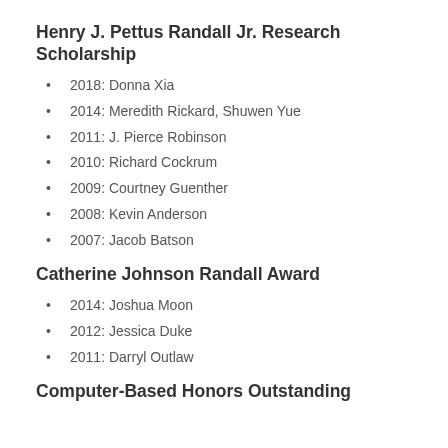Henry J. Pettus Randall Jr. Research Scholarship
2018: Donna Xia
2014: Meredith Rickard, Shuwen Yue
2011: J. Pierce Robinson
2010: Richard Cockrum
2009: Courtney Guenther
2008: Kevin Anderson
2007: Jacob Batson
Catherine Johnson Randall Award
2014: Joshua Moon
2012: Jessica Duke
2011: Darryl Outlaw
Computer-Based Honors Outstanding